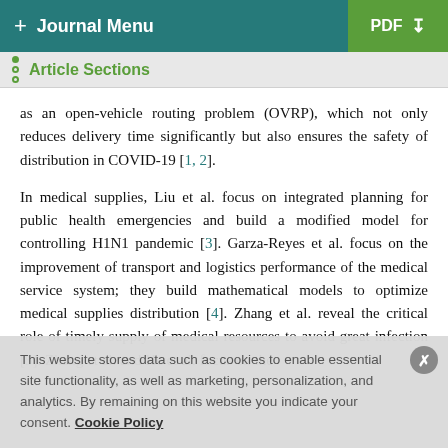+ Journal Menu | PDF ↓
Article Sections
as an open-vehicle routing problem (OVRP), which not only reduces delivery time significantly but also ensures the safety of distribution in COVID-19 [1, 2].
In medical supplies, Liu et al. focus on integrated planning for public health emergencies and build a modified model for controlling H1N1 pandemic [3]. Garza-Reyes et al. focus on the improvement of transport and logistics performance of the medical service system; they build mathematical models to optimize medical supplies distribution [4]. Zhang et al. reveal the critical role of timely supply of medical resources to avoid great infection [5]. Zhang et al. and He et al. focus on the…
This website stores data such as cookies to enable essential site functionality, as well as marketing, personalization, and analytics. By remaining on this website you indicate your consent. Cookie Policy